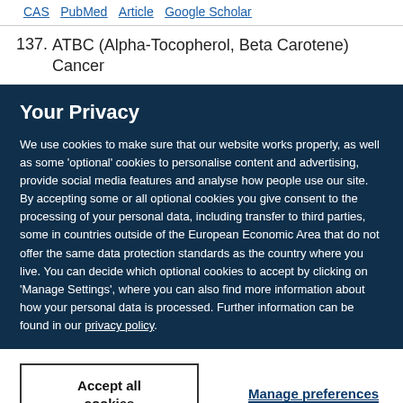CAS   PubMed   Article   Google Scholar
137. ATBC (Alpha-Tocopherol, Beta Carotene) Cancer
Your Privacy
We use cookies to make sure that our website works properly, as well as some 'optional' cookies to personalise content and advertising, provide social media features and analyse how people use our site. By accepting some or all optional cookies you give consent to the processing of your personal data, including transfer to third parties, some in countries outside of the European Economic Area that do not offer the same data protection standards as the country where you live. You can decide which optional cookies to accept by clicking on 'Manage Settings', where you can also find more information about how your personal data is processed. Further information can be found in our privacy policy.
Accept all cookies
Manage preferences